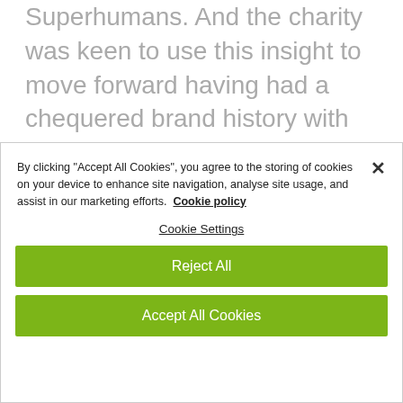Superhumans. And the charity was keen to use this insight to move forward having had a chequered brand history with several rebrands that didn't stick in the past. Market research showed that target audiences struggled to
By clicking "Accept All Cookies", you agree to the storing of cookies on your device to enhance site navigation, analyse site usage, and assist in our marketing efforts. Cookie policy
Cookie Settings
Reject All
Accept All Cookies